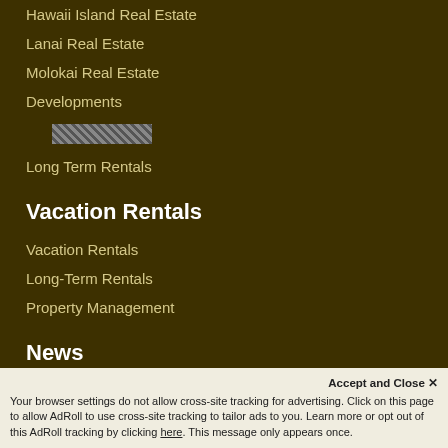Hawaii Island Real Estate
Lanai Real Estate
Molokai Real Estate
Developments
[redacted]
Long Term Rentals
Vacation Rentals
Vacation Rentals
Long-Term Rentals
Property Management
News
Hawai'i Life Blog
Vacation Blog
Company
Accept and Close ✕
Your browser settings do not allow cross-site tracking for advertising. Click on this page to allow AdRoll to use cross-site tracking to tailor ads to you. Learn more or opt out of this AdRoll tracking by clicking here. This message only appears once.